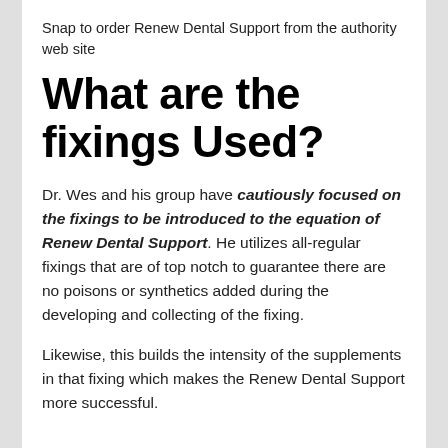Snap to order Renew Dental Support from the authority web site
What are the fixings Used?
Dr. Wes and his group have cautiously focused on the fixings to be introduced to the equation of Renew Dental Support. He utilizes all-regular fixings that are of top notch to guarantee there are no poisons or synthetics added during the developing and collecting of the fixing.
Likewise, this builds the intensity of the supplements in that fixing which makes the Renew Dental Support more successful.